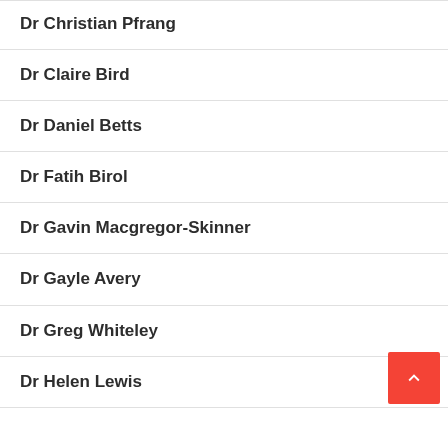Dr Christian Pfrang
Dr Claire Bird
Dr Daniel Betts
Dr Fatih Birol
Dr Gavin Macgregor-Skinner
Dr Gayle Avery
Dr Greg Whiteley
Dr Helen Lewis